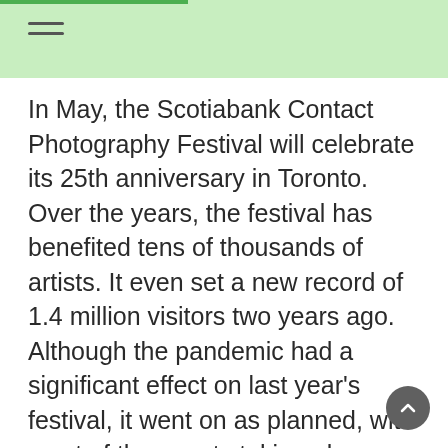In May, the Scotiabank Contact Photography Festival will celebrate its 25th anniversary in Toronto. Over the years, the festival has benefited tens of thousands of artists. It even set a new record of 1.4 million visitors two years ago. Although the pandemic had a significant effect on last year's festival, it went on as planned, with most of the events taking place online. Only about a third of the 186 activities took place in the real world. Darcy Killeen, the festival's executive director, said the festival's appeal is its diversity and inclusiveness. The festival's goal is to demonstrate that everyone can put on …